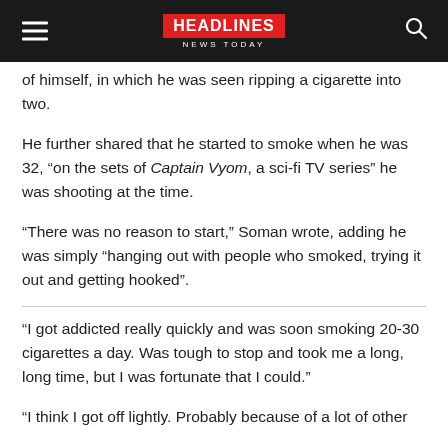HEADLINES NEWS TODAY
of himself, in which he was seen ripping a cigarette into two.
He further shared that he started to smoke when he was 32, “on the sets of Captain Vyom, a sci-fi TV series” he was shooting at the time.
“There was no reason to start,” Soman wrote, adding he was simply “hanging out with people who smoked, trying it out and getting hooked”.
“I got addicted really quickly and was soon smoking 20-30 cigarettes a day. Was tough to stop and took me a long, long time, but I was fortunate that I could.”
“I think I got off lightly. Probably because of a lot of other